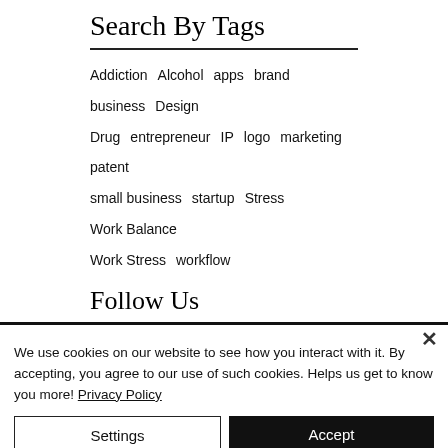Search By Tags
Addiction  Alcohol  apps  brand  business  Design  Drug  entrepreneur  IP  logo  marketing  patent  small business  startup  Stress  Work Balance  Work Stress  workflow
Follow Us
[Figure (illustration): Social media icons: Facebook (blue), Twitter (light blue), Google+ (red)]
We use cookies on our website to see how you interact with it. By accepting, you agree to our use of such cookies. Helps us get to know you more! Privacy Policy
Settings   Accept